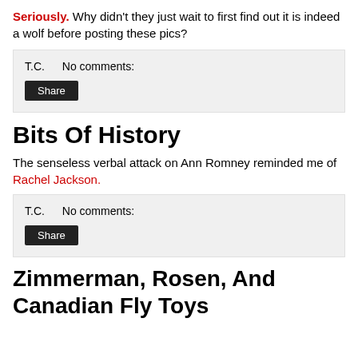Seriously. Why didn't they just wait to first find out it is indeed a wolf before posting these pics?
T.C.    No comments:
Share
Bits Of History
The senseless verbal attack on Ann Romney reminded me of Rachel Jackson.
T.C.    No comments:
Share
Zimmerman, Rosen, And Canadian Fly Toys